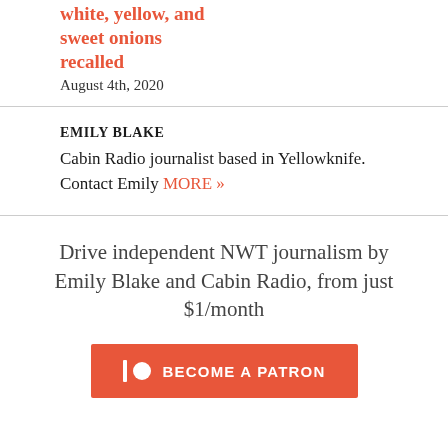white, yellow, and sweet onions recalled
August 4th, 2020
EMILY BLAKE
Cabin Radio journalist based in Yellowknife. Contact Emily MORE »
Drive independent NWT journalism by Emily Blake and Cabin Radio, from just $1/month
[Figure (other): Become a Patron button with Patreon logo (bar and circle icon) on orange/red background]